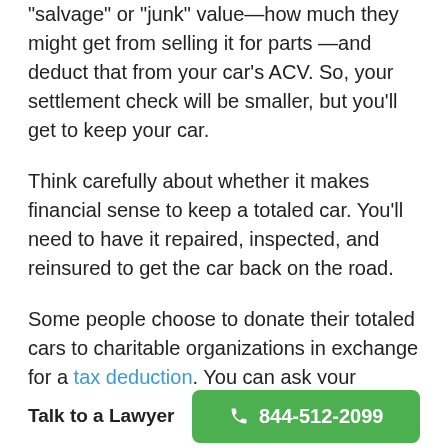"salvage" or "junk" value—how much they might get from selling it for parts —and deduct that from your car's ACV. So, your settlement check will be smaller, but you'll get to keep your car.
Think carefully about whether it makes financial sense to keep a totaled car. You'll need to have it repaired, inspected, and reinsured to get the car back on the road.
Some people choose to donate their totaled cars to charitable organizations in exchange for a tax deduction. You can ask your favorite charity if they work with a car donation service or auction house. Some state recycling programs list organizations
Talk to a Lawyer   844-512-2099